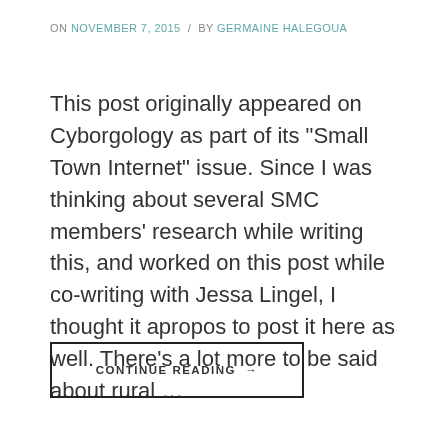ON NOVEMBER 7, 2015 / BY GERMAINE HALEGOUA
This post originally appeared on Cyborgology as part of its "Small Town Internet" issue. Since I was thinking about several SMC members' research while writing this, and worked on this post while co-writing with Jessa Lingel, I thought it apropos to post it here as well. There's a lot more to be said about rural …
CONTINUE READING →